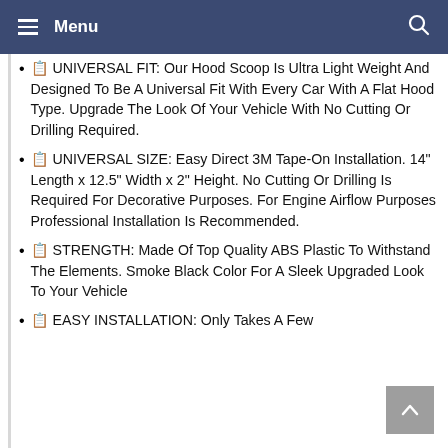Menu
🏷 UNIVERSAL FIT: Our Hood Scoop Is Ultra Light Weight And Designed To Be A Universal Fit With Every Car With A Flat Hood Type. Upgrade The Look Of Your Vehicle With No Cutting Or Drilling Required.
🏷 UNIVERSAL SIZE: Easy Direct 3M Tape-On Installation. 14" Length x 12.5" Width x 2" Height. No Cutting Or Drilling Is Required For Decorative Purposes. For Engine Airflow Purposes Professional Installation Is Recommended.
🏷 STRENGTH: Made Of Top Quality ABS Plastic To Withstand The Elements. Smoke Black Color For A Sleek Upgraded Look To Your Vehicle
🏷 EASY INSTALLATION: Only Takes A Few